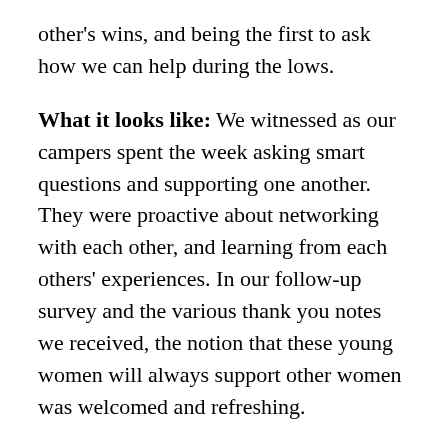other's wins, and being the first to ask how we can help during the lows.
What it looks like: We witnessed as our campers spent the week asking smart questions and supporting one another. They were proactive about networking with each other, and learning from each others' experiences. In our follow-up survey and the various thank you notes we received, the notion that these young women will always support other women was welcomed and refreshing.
You are only as happy as the people you surround yourself with, and we tend to spend more time with our colleagues than our families (or at least we all did pre-COVID). They seem to